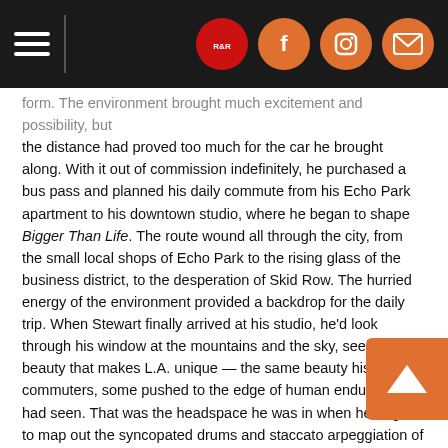[Navigation bar with hamburger menu and social icons]
form. The environment brought much excitement and possibility, but the distance had proved too much for the car he brought along. With it out of commission indefinitely, he purchased a bus pass and planned his daily commute from his Echo Park apartment to his downtown studio, where he began to shape Bigger Than Life. The route wound all through the city, from the small local shops of Echo Park to the rising glass of the business district, to the desperation of Skid Row. The hurried energy of the environment provided a backdrop for the daily trip. When Stewart finally arrived at his studio, he'd look through his window at the mountains and the sky, seeing the beauty that makes L.A. unique — the same beauty his fellow commuters, some pushed to the edge of human endurance, had seen. That was the headspace he was in when he began to map out the syncopated drums and staccato arpeggiation of Bigger Than Life, an ode to his new condition and a shimmering synth-pop response to its cacophony.
As with every Black Marble album, Stewart recorded, produced, and played everything you hear on Bigger Than Life using entirely analog gear, though the process was new. This time around, he wrote everything on his MPC and sequenced it lie to his synths — only using the computer to record, not to create. "I try new approaches every